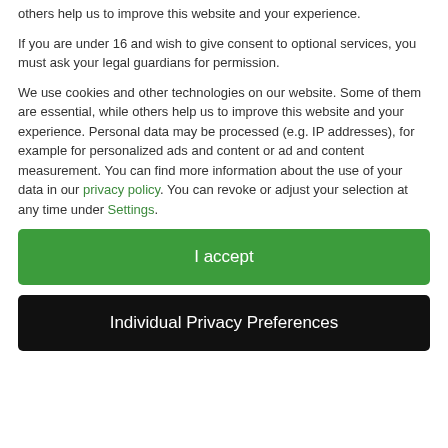We use cookies on our website. Some of them are essential, while others help us to improve this website and your experience.
If you are under 16 and wish to give consent to optional services, you must ask your legal guardians for permission.
We use cookies and other technologies on our website. Some of them are essential, while others help us to improve this website and your experience. Personal data may be processed (e.g. IP addresses), for example for personalized ads and content or ad and content measurement. You can find more information about the use of your data in our privacy policy. You can revoke or adjust your selection at any time under Settings.
I accept
Individual Privacy Preferences
[Figure (photo): Background photo of stacked wooden planks and a person writing, visible below the cookie consent modal overlay.]